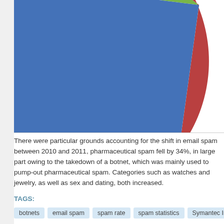[Figure (pie-chart): Spam categories]
There were particular grounds accounting for the shift in email spam between 2010 and 2011, pharmaceutical spam fell by 34%, in large part owing to the takedown of a botnet, which was mainly used to pump-out pharmaceutical spam. Categories such as watches and jewelry, as well as sex and dating, both increased.
TAGS:
botnets
email spam
spam rate
spam statistics
Symantec Intelligence